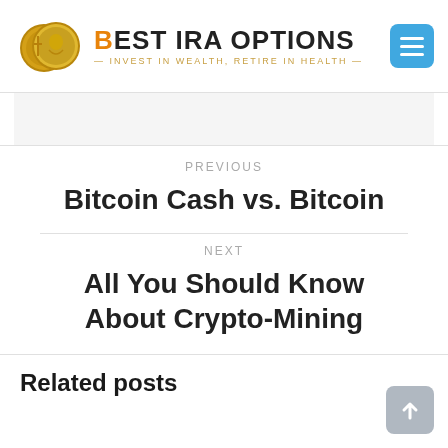[Figure (logo): Best IRA Options logo with two gold coins and text 'BEST IRA OPTIONS – INVEST IN WEALTH, RETIRE IN HEALTH –' and a blue menu button]
PREVIOUS
Bitcoin Cash vs. Bitcoin
NEXT
All You Should Know About Crypto-Mining
Related posts